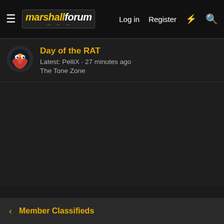marshallforum — Log in | Register
Day of the RAT
Latest: PelliX · 27 minutes ago
The Tone Zone
Member Classifieds